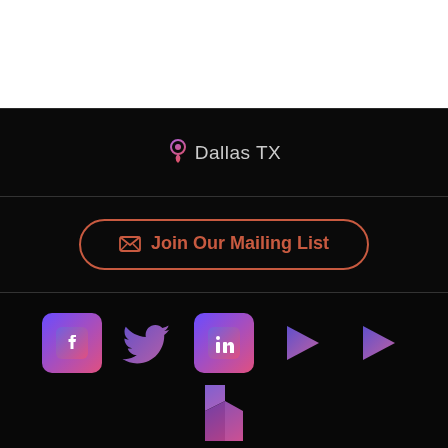Dallas TX
Join Our Mailing List
[Figure (infographic): Social media icons in gradient pink-purple style: Facebook, Twitter, LinkedIn, two play buttons (YouTube/Vimeo), and Houzz icon below]
Copyright © 2022 - Kore Multimedia Solutions. Powered By Webware.io